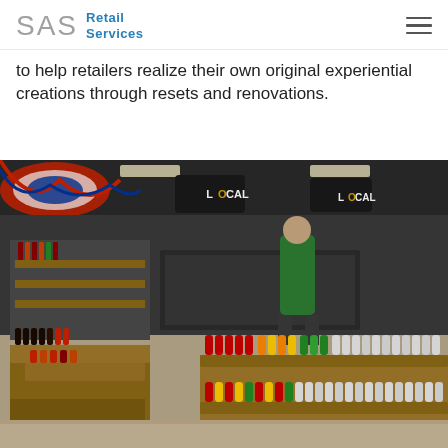SAS Retail Services
to help retailers realize their own original experiential creations through resets and renovations.
[Figure (photo): Interior of a retail store showing wooden display shelves stocked with colorful beverage bottles and specialty food products. Signs reading 'LOCAL' hang from the ceiling. A store employee in a green shirt is visible in the background near what appears to be a checkout area. American flag bunting decoration is visible in the upper left.]